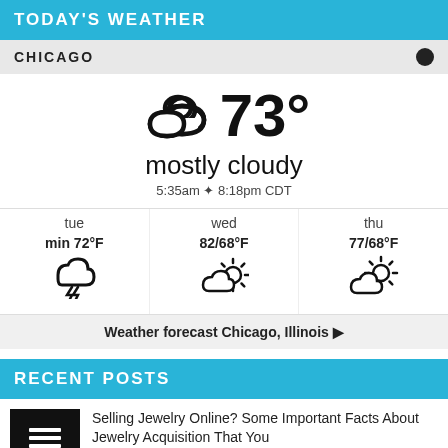TODAY'S WEATHER
CHICAGO
[Figure (infographic): Weather widget showing 73° mostly cloudy with cloud icon, sunrise 5:35am sunset 8:18pm CDT, and 3-day forecast for tue/wed/thu]
Weather forecast Chicago, Illinois ▶
RECENT POSTS
Selling Jewelry Online? Some Important Facts About Jewelry Acquisition That You